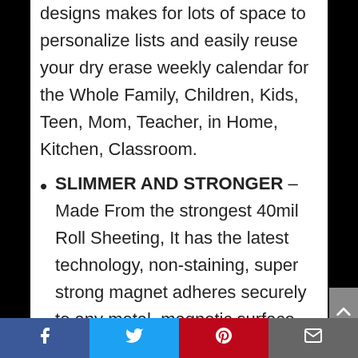designs makes for lots of space to personalize lists and easily reuse your dry erase weekly calendar for the Whole Family, Children, Kids, Teen, Mom, Teacher, in Home, Kitchen, Classroom.
SLIMMER AND STRONGER – Made From the strongest 40mil Roll Sheeting, It has the latest technology, non-staining, super strong magnet adheres securely to any metal, magnetic surface, Overlayed with 'Long Lasting' Clear Dry Erase Laminate.
NEVER FORGET – This eye-catching